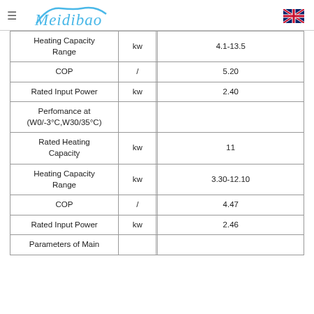Meidibao
| Heating Capacity Range | kw | 4.1-13.5 |
| COP | / | 5.20 |
| Rated Input Power | kw | 2.40 |
| Perfomance at (W0/-3°C,W30/35°C) |  |  |
| Rated Heating Capacity | kw | 11 |
| Heating Capacity Range | kw | 3.30-12.10 |
| COP | / | 4.47 |
| Rated Input Power | kw | 2.46 |
| Parameters of Main |  |  |